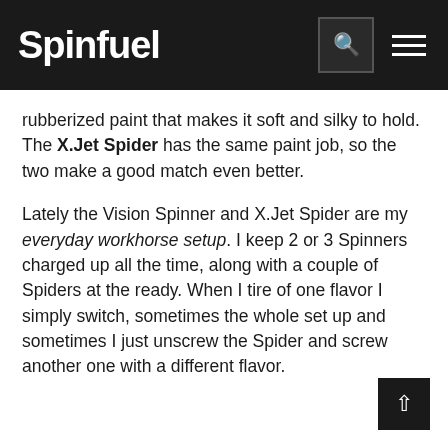Spinfuel
rubberized paint that makes it soft and silky to hold. The X.Jet Spider has the same paint job, so the two make a good match even better.
Lately the Vision Spinner and X.Jet Spider are my everyday workhorse setup. I keep 2 or 3 Spinners charged up all the time, along with a couple of Spiders at the ready. When I tire of one flavor I simply switch, sometimes the whole set up and sometimes I just unscrew the Spider and screw another one with a different flavor.